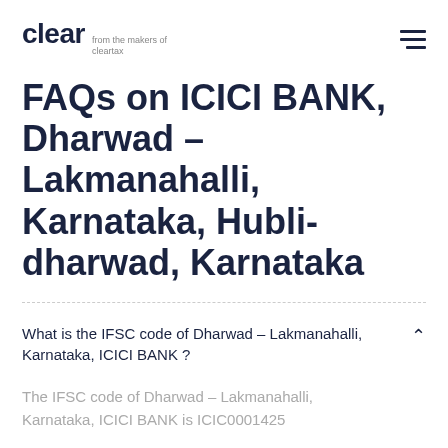clear from the makers of cleartax
FAQs on ICICI BANK, Dharwad - Lakmanahalli, Karnataka, Hubli-dharwad, Karnataka
What is the IFSC code of Dharwad - Lakmanahalli, Karnataka, ICICI BANK ?
The IFSC code of Dharwad - Lakmanahalli, Karnataka, ICICI BANK is ICIC0001425